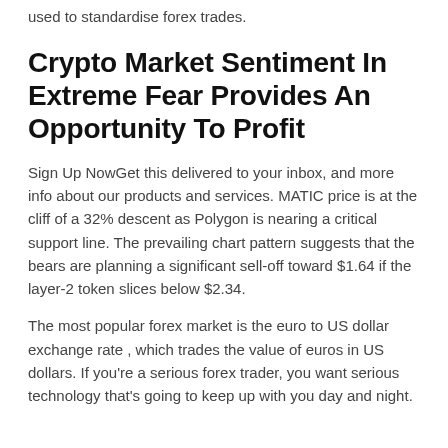used to standardise forex trades.
Crypto Market Sentiment In Extreme Fear Provides An Opportunity To Profit
Sign Up NowGet this delivered to your inbox, and more info about our products and services. MATIC price is at the cliff of a 32% descent as Polygon is nearing a critical support line. The prevailing chart pattern suggests that the bears are planning a significant sell-off toward $1.64 if the layer-2 token slices below $2.34.
The most popular forex market is the euro to US dollar exchange rate , which trades the value of euros in US dollars. If you’re a serious forex trader, you want serious technology that’s going to keep up with you day and night.